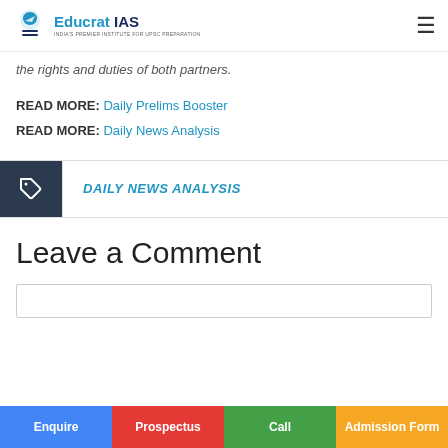Educrat IAS
the rights and duties of both partners.
READ MORE: Daily Prelims Booster
READ MORE: Daily News Analysis
DAILY NEWS ANALYSIS
Leave a Comment
Enquire | Prospectus | Call | Admission Form